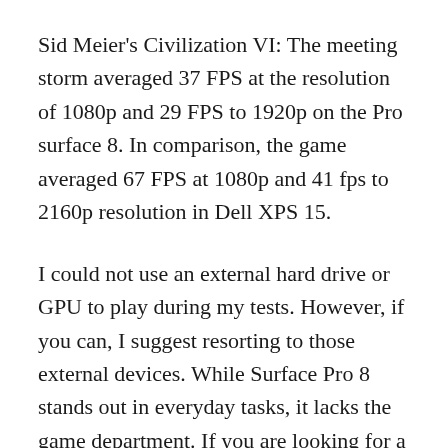Sid Meier's Civilization VI: The meeting storm averaged 37 FPS at the resolution of 1080p and 29 FPS to 1920p on the Pro surface 8. In comparison, the game averaged 67 FPS at 1080p and 41 fps to 2160p resolution in Dell XPS 15.
I could not use an external hard drive or GPU to play during my tests. However, if you can, I suggest resorting to those external devices. While Surface Pro 8 stands out in everyday tasks, it lacks the game department. If you are looking for a dedicated laptop, the Razer Blade